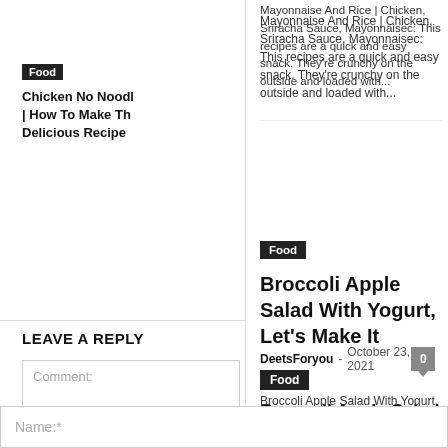Mayonnaise And Rice | Chicken, Sriracha Sauce, Mayonnaisec: This recipes are a quick and easy snack. They're crunchy on the outside and loaded with...
Food
Chicken No Noodle | How To Make This Delicious Recipe
LEAVE A REPLY
Comment:
Food
Broccoli Apple Salad With Yogurt, Let's Make It
DeetsForyou - October 23, 2021
Broccoli Apple Salad With Yogurt, Let's Make It: The flavours and textures of broccoli, pecans, cranberries, carrots, and apples combine to form a delicious...
Name:*